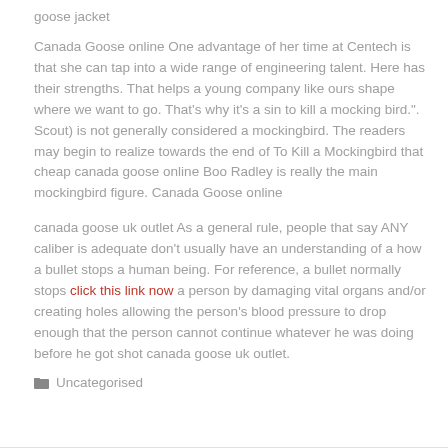goose jacket
Canada Goose online One advantage of her time at Centech is that she can tap into a wide range of engineering talent. Here has their strengths. That helps a young company like ours shape where we want to go. That’s why it’s a sin to kill a mocking bird.". Scout) is not generally considered a mockingbird. The readers may begin to realize towards the end of To Kill a Mockingbird that cheap canada goose online Boo Radley is really the main mockingbird figure. Canada Goose online
canada goose uk outlet As a general rule, people that say ANY caliber is adequate don’t usually have an understanding of a how a bullet stops a human being. For reference, a bullet normally stops click this link now a person by damaging vital organs and/or creating holes allowing the person’s blood pressure to drop enough that the person cannot continue whatever he was doing before he got shot canada goose uk outlet.
Uncategorised